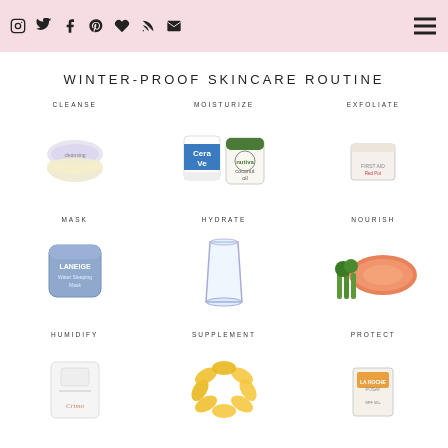Social media icons and navigation menu
WINTER-PROOF SKINCARE ROUTINE
[Figure (photo): CLEANSE - cleansing balm product]
[Figure (photo): MOISTURIZE - CeraVe moisturizing cream and Nutiva coconut oil]
[Figure (photo): EXFOLIATE - exfoliating cream product]
[Figure (photo): MASK - Laneige water sleeping mask]
[Figure (photo): HYDRATE - glass of water]
[Figure (photo): NOURISH - salmon with vegetables]
[Figure (photo): HUMIDIFY - humidifier product]
[Figure (photo): SUPPLEMENT - omega/fish oil capsules]
[Figure (photo): PROTECT - sunscreen/protection product]